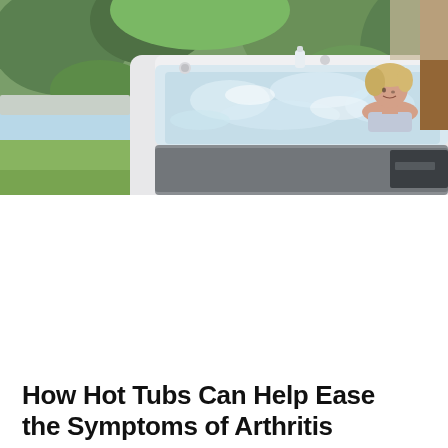[Figure (photo): A woman relaxing in a white outdoor hot tub/spa with bubbling water jets. The hot tub is surrounded by lush green plants and ferns, with a grassy lawn, pool, and wooden structure visible in the background. The setting is an upscale residential backyard.]
How Hot Tubs Can Help Ease the Symptoms of Arthritis